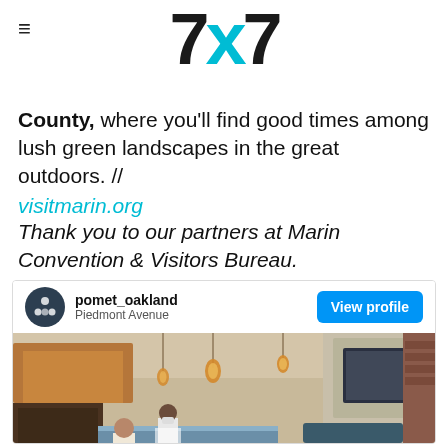7x7
County, where you'll find good times among lush green landscapes in the great outdoors. // visitmarin.org
Thank you to our partners at Marin Convention & Visitors Bureau.
[Figure (screenshot): Instagram profile card for pomet_oakland located at Piedmont Avenue with a View profile button, followed by a photo of the restaurant interior showing pendant lights, blue cabinetry, kitchen counter, staff, and dining tables]